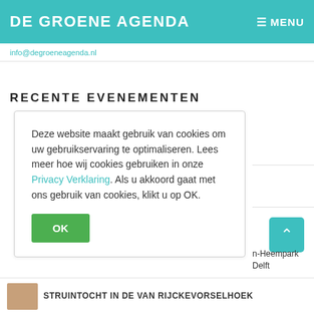DE GROENE AGENDA | ≡ MENU
info@[redacted email]
RECENTE EVENEMENTEN
Deze website maakt gebruik van cookies om uw gebruikservaring te optimaliseren. Lees meer hoe wij cookies gebruiken in onze Privacy Verklaring. Als u akkoord gaat met ons gebruik van cookies, klikt u op OK.
n-Heempark Delft
STRUINTOCHT in de VAN RIJCKEVORSELHOEK